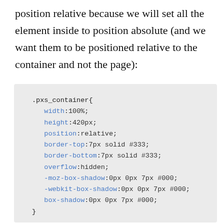position relative because we will set all the element inside to position absolute (and we want them to be positioned relative to the container and not the page):
.pxs_container{
  width:100%;
  height:420px;
  position:relative;
  border-top:7px solid #333;
  border-bottom:7px solid #333;
  overflow:hidden;
  -moz-box-shadow:0px 0px 7px #000;
  -webkit-box-shadow:0px 0px 7px #000;
  box-shadow:0px 0px 7px #000;
}